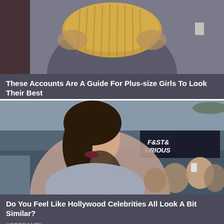[Figure (photo): Photo of a woman in a gold/bronze strapless top, cropped from mid-torso up, against a gray background]
These Accounts Are A Guide For Plus-size Girls To Look Their Best
HERBEAUTY
[Figure (photo): Photo of a woman with dark hair in a gray top and gold necklace at what appears to be a Fast & Furious premiere, surrounded by fans]
Do You Feel Like Hollywood Celebrities All Look A Bit Similar?
HERBEAUTY